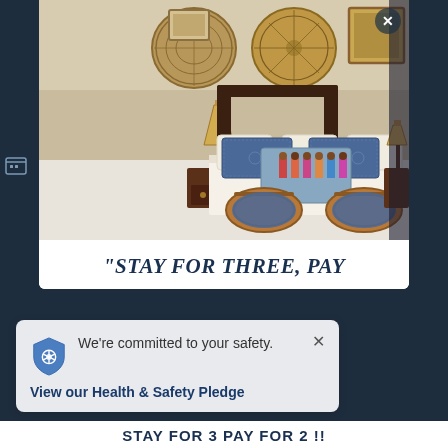[Figure (photo): Hotel or lodge bedroom with a large four-poster bed, blue patterned pillows and cushions, rattan chairs at the foot of the bed, decorative wicker baskets on the wall, framed pictures, and bedside lamps on dark wood nightstands.]
"STAY FOR THREE, PAY
We're committed to your safety.
View our Health & Safety Pledge
STAY FOR 3 PAY FOR 2 !!